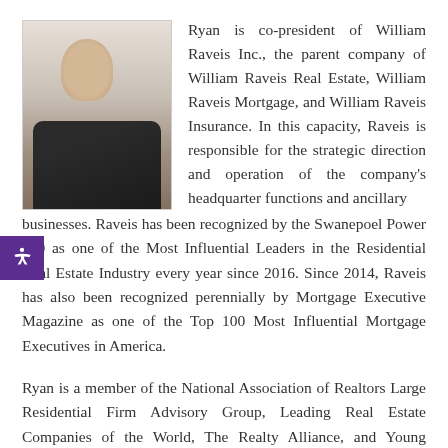[Figure (photo): Professional headshot of Ryan, a man in a dark suit and white shirt, smiling, photographed indoors with warm background lighting.]
Ryan is co-president of William Raveis Inc., the parent company of William Raveis Real Estate, William Raveis Mortgage, and William Raveis Insurance. In this capacity, Raveis is responsible for the strategic direction and operation of the company's headquarter functions and ancillary businesses. Raveis has been recognized by the Swanepoel Power 200 as one of the Most Influential Leaders in the Residential Real Estate Industry every year since 2016. Since 2014, Raveis has also been recognized perennially by Mortgage Executive Magazine as one of the Top 100 Most Influential Mortgage Executives in America.
Ryan is a member of the National Association of Realtors Large Residential Firm Advisory Group, Leading Real Estate Companies of the World, The Realty Alliance, and Young Presidents' Organization, a global leadership community of chief executives with approximately 28,000 members in more than 130 countries. Ryan is a founder of the William Raveis